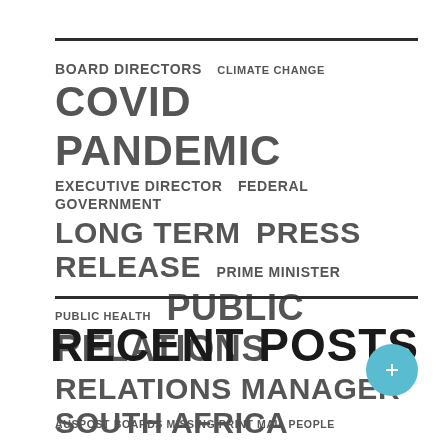[Figure (infographic): Tag cloud / word cloud with various political and governance terms sized by frequency/importance. Terms include: BOARD DIRECTORS, CLIMATE CHANGE, COVID PANDEMIC, EXECUTIVE DIRECTOR, FEDERAL GOVERNMENT, LONG TERM, PRESS RELEASE, PRIME MINISTER, PUBLIC HEALTH, PUBLIC RELATIONS, RELATIONS MANAGER, SOUTH AFRICA, UNITED NATIONS, UNITED STATES, VICE PRESIDENT]
RECENT POSTS
AUSPOST BOARDS MISSING PRINT MAIL PEOPLE